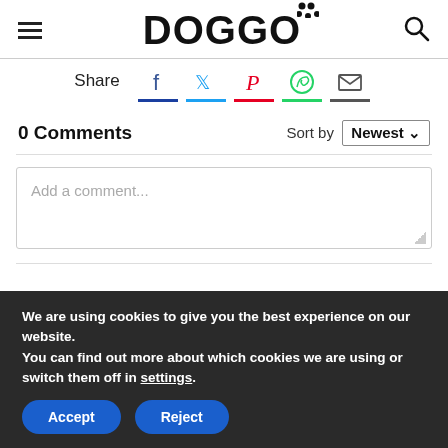DOGGO
Share
0 Comments
Sort by Newest
Add a comment...
We are using cookies to give you the best experience on our website.
You can find out more about which cookies we are using or switch them off in settings.
Accept | Reject